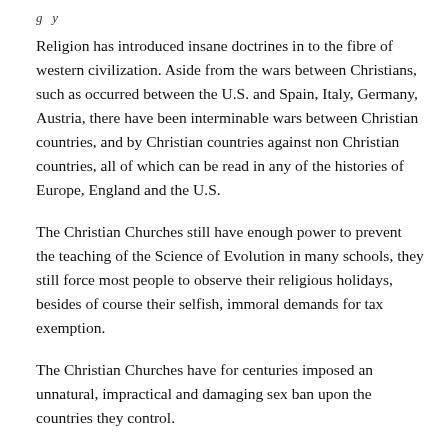g y
Religion has introduced insane doctrines in to the fibre of western civilization. Aside from the wars between Christians, such as occurred between the U.S. and Spain, Italy, Germany, Austria, there have been interminable wars between Christian countries, and by Christian countries against non Christian countries, all of which can be read in any of the histories of Europe, England and the U.S.
The Christian Churches still have enough power to prevent the teaching of the Science of Evolution in many schools, they still force most people to observe their religious holidays, besides of course their selfish, immoral demands for tax exemption.
The Christian Churches have for centuries imposed an unnatural, impractical and damaging sex ban upon the countries they control.